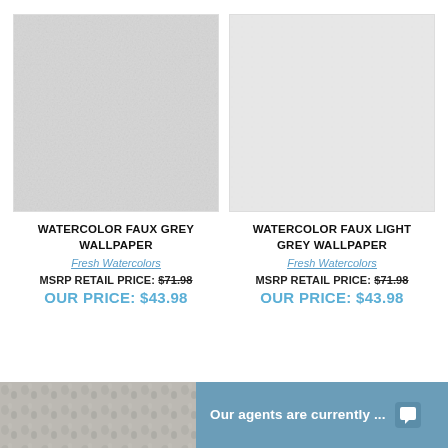[Figure (photo): Watercolor Faux Grey Wallpaper product swatch — light grey textured fabric-like pattern]
WATERCOLOR FAUX GREY WALLPAPER
Fresh Watercolors
MSRP RETAIL PRICE: $71.98
OUR PRICE: $43.98
[Figure (photo): Watercolor Faux Light Grey Wallpaper product swatch — very light grey subtle speckled pattern]
WATERCOLOR FAUX LIGHT GREY WALLPAPER
Fresh Watercolors
MSRP RETAIL PRICE: $71.98
OUR PRICE: $43.98
[Figure (photo): Partial product photo at bottom left]
Our agents are currently ...